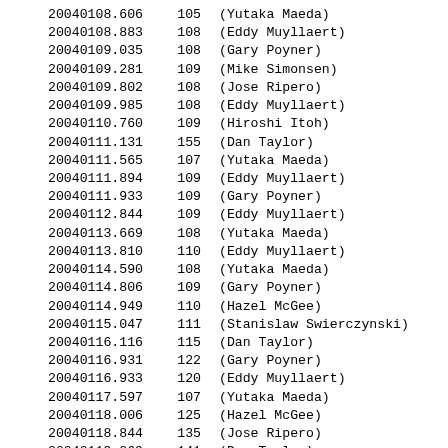| JD | Magnitude | Observer |
| --- | --- | --- |
| 20040108.606 | 105 | (Yutaka Maeda) |
| 20040108.883 | 108 | (Eddy Muyllaert) |
| 20040109.035 | 108 | (Gary Poyner) |
| 20040109.281 | 109 | (Mike Simonsen) |
| 20040109.802 | 108 | (Jose Ripero) |
| 20040109.985 | 108 | (Eddy Muyllaert) |
| 20040110.760 | 109 | (Hiroshi Itoh) |
| 20040111.131 | 155 | (Dan Taylor) |
| 20040111.565 | 107 | (Yutaka Maeda) |
| 20040111.894 | 109 | (Eddy Muyllaert) |
| 20040111.933 | 109 | (Gary Poyner) |
| 20040112.844 | 109 | (Eddy Muyllaert) |
| 20040113.669 | 108 | (Yutaka Maeda) |
| 20040113.810 | 110 | (Eddy Muyllaert) |
| 20040114.590 | 108 | (Yutaka Maeda) |
| 20040114.806 | 109 | (Gary Poyner) |
| 20040114.949 | 110 | (Hazel McGee) |
| 20040115.047 | 111 | (Stanislaw Swierczynski) |
| 20040116.116 | 115 | (Dan Taylor) |
| 20040116.931 | 122 | (Gary Poyner) |
| 20040116.933 | 120 | (Eddy Muyllaert) |
| 20040117.597 | 107 | (Yutaka Maeda) |
| 20040118.006 | 125 | (Hazel McGee) |
| 20040118.844 | 135 | (Jose Ripero) |
| 20040119.069 | 141 | (Dan Taylor) |
| 20040120.156 | 151 | (Mike Simonsen) |
| 20040120.760 | <139 | (Eddy Muyllaert) |
| 20040121.056 | 144 | (Dan Taylor) |
| 20040123.125 | 155 | (Mike Simonsen) |
| 20040123.408 | <125 | (Tomohito Ohshima) |